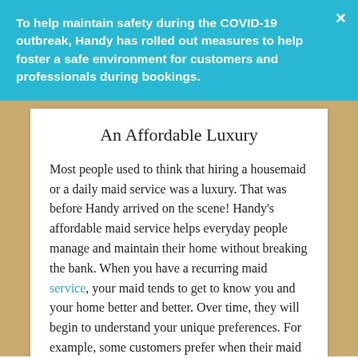To help maintain safety during the COVID-19 outbreak, Handy has rolled out measures to help foster a safe environment for customers and professionals during bookings.
An Affordable Luxury
Most people used to think that hiring a housemaid or a daily maid service was a luxury. That was before Handy arrived on the scene! Handy's affordable maid service helps everyday people manage and maintain their home without breaking the bank. When you have a recurring maid service, your maid tends to get to know you and your home better and better. Over time, they will begin to understand your unique preferences. For example, some customers prefer when their maid washes their delicate dishes by hand, while